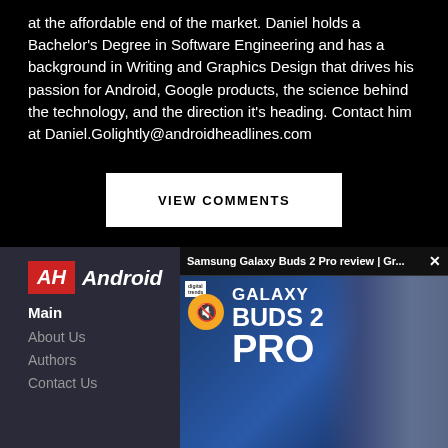at the affordable end of the market. Daniel holds a Bachelor's Degree in Software Engineering and has a background in Writing and Graphics Design that drives his passion for Android, Google products, the science behind the technology, and the direction it's heading. Contact him at Daniel.Golightly@androidheadlines.com
VIEW COMMENTS
[Figure (screenshot): Android Headlines website footer with AH logo and navigation links (Main, About Us, Authors, Contact Us), with a Samsung Galaxy Buds 2 Pro review video overlay popup showing the title bar 'Samsung Galaxy Buds 2 Pro review | Gr...' with a close button, and video thumbnail showing 'GALAXY BUDS 2 PRO' text with a man holding earbuds]
Main
About Us
Authors
Contact Us